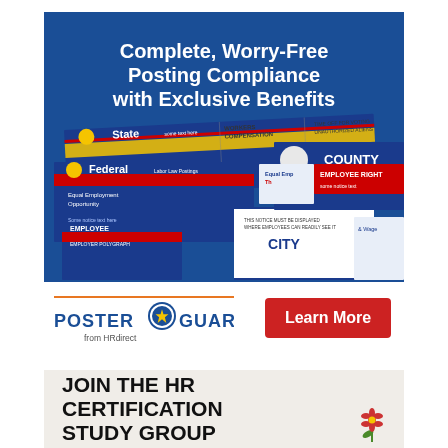[Figure (illustration): Advertisement banner with dark blue background. Top portion shows bold white text headline: 'Complete, Worry-Free Posting Compliance with Exclusive Benefits'. Lower portion shows a collage of overlapping workplace compliance posters labeled State, Federal, County, City, Employee Rights, and Wage.]
[Figure (logo): Poster Guard logo (from HRdirect) with blue text and a circular star badge emblem between 'POSTER' and 'GUARD'.]
Learn More
JOIN THE HR CERTIFICATION STUDY GROUP